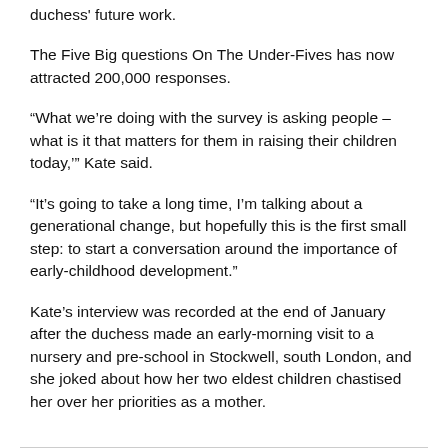duchess' future work.
The Five Big questions On The Under-Fives has now attracted 200,000 responses.
“What we’re doing with the survey is asking people – what is it that matters for them in raising their children today,’” Kate said.
“It’s going to take a long time, I’m talking about a generational change, but hopefully this is the first small step: to start a conversation around the importance of early-childhood development.”
Kate’s interview was recorded at the end of January after the duchess made an early-morning visit to a nursery and pre-school in Stockwell, south London, and she joked about how her two eldest children chastised her over her priorities as a mother.